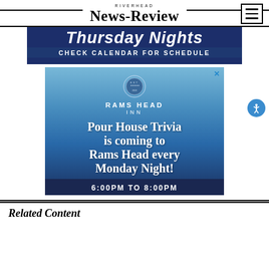RIVERHEAD NEWS-REVIEW
[Figure (advertisement): Advertisement banner: navy blue background with large italic white text 'Thursday Nights' and a dark bar below reading 'CHECK CALENDAR FOR SCHEDULE']
[Figure (advertisement): Rams Head Inn advertisement on blue gradient background. Logo with crest. Text: 'Pour House Trivia is coming to Rams Head every Monday Night! 6:00PM TO 8:00PM']
Related Content